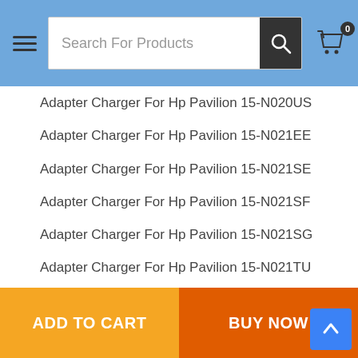[Figure (screenshot): E-commerce website header with hamburger menu, search bar, and cart icon with badge showing 0]
Adapter Charger For Hp Pavilion 15-N020US
Adapter Charger For Hp Pavilion 15-N021EE
Adapter Charger For Hp Pavilion 15-N021SE
Adapter Charger For Hp Pavilion 15-N021SF
Adapter Charger For Hp Pavilion 15-N021SG
Adapter Charger For Hp Pavilion 15-N021TU
Adapter Charger For Hp Pavilion 15-N021TX
Adapter Charger For Hp Pavilion 15-N022TU
Adapter Charger For Hp Pavilion 15-N022TX
Adapter Charger For Hp Pavilion 15-N023CL
Adapter Charger For Hp Pavilion 15-N023EL
Adapter Charger For Hp Pavilion 15-N023SL
Adapter Charger For Hp Pavilion 15-N023SM
Adapter Charger For Hp Pavilion 15-N023SY
Adapter Charger For Hp Pavilion 15-N023TU
Adapter Charger For Hp Pavilion 15-N023TX
ADD TO CART
BUY NOW